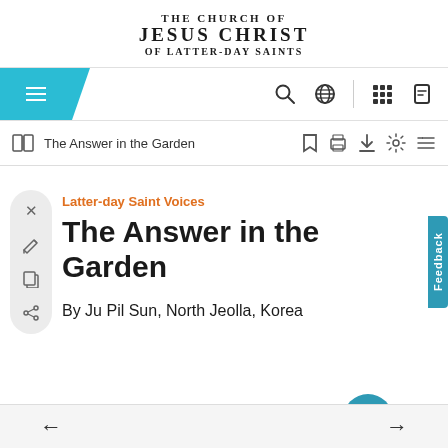THE CHURCH OF JESUS CHRIST OF LATTER-DAY SAINTS
[Figure (screenshot): Website navigation bar with hamburger menu icon on teal background, search icon, globe icon, grid icon, and user icon on the right]
[Figure (screenshot): Document toolbar with book icon, breadcrumb showing 'The Answer in the Garden', and toolbar icons for bookmark, print, download, settings, and list]
Latter-day Saint Voices
The Answer in the Garden
By Ju Pil Sun, North Jeolla, Korea
← →